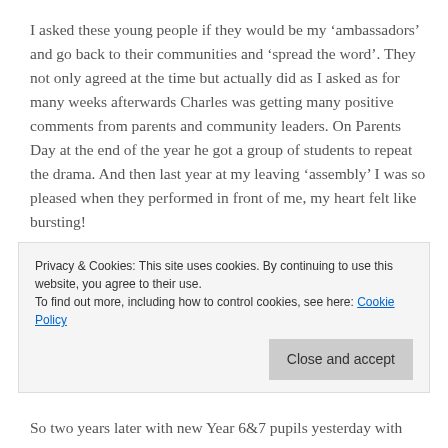I asked these young people if they would be my 'ambassadors' and go back to their communities and 'spread the word'. They not only agreed at the time but actually did as I asked as for many weeks afterwards Charles was getting many positive comments from parents and community leaders. On Parents Day at the end of the year he got a group of students to repeat the drama. And then last year at my leaving 'assembly' I was so pleased when they performed in front of me, my heart felt like bursting!
These lessons were a resounding success which has changed the attitude of the many of the local people and
Privacy & Cookies: This site uses cookies. By continuing to use this website, you agree to their use.
To find out more, including how to control cookies, see here: Cookie Policy
So two years later with new Year 6&7 pupils yesterday with